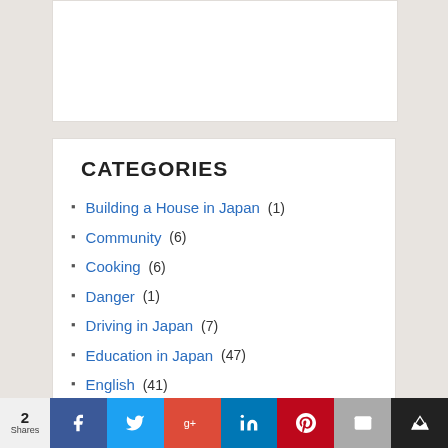[Figure (other): White advertisement card area at top of sidebar]
CATEGORIES
Building a House in Japan (1)
Community (6)
Cooking (6)
Danger (1)
Driving in Japan (7)
Education in Japan (47)
English (41)
Guest Post (2)
Holidays (5)
2 Shares | Facebook | Twitter | Google+ | LinkedIn | Pinterest | Email | Crown